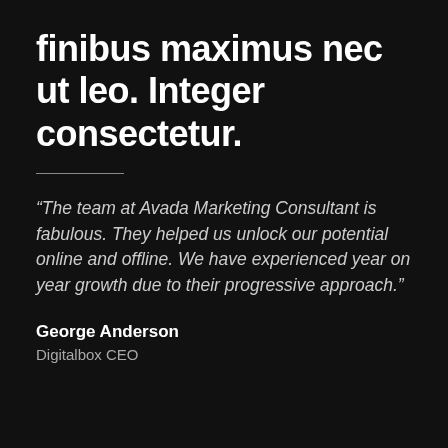finibus maximus nec ut leo. Integer consectetur.
“The team at Avada Marketing Consultant is fabulous. They helped us unlock our potential online and offline. We have experienced year on year growth due to their progressive approach.”
George Anderson
Digitalbox CEO